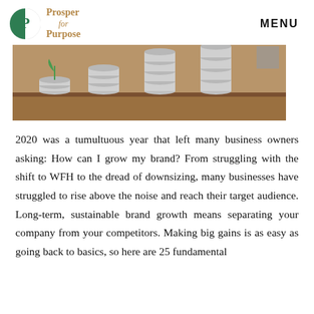Prosper for Purpose | MENU
[Figure (photo): Stacks of coins in increasing height arranged on a wooden surface, suggesting financial growth.]
2020 was a tumultuous year that left many business owners asking: How can I grow my brand? From struggling with the shift to WFH to the dread of downsizing, many businesses have struggled to rise above the noise and reach their target audience. Long-term, sustainable brand growth means separating your company from your competitors. Making big gains is as easy as going back to basics, so here are 25 fundamental